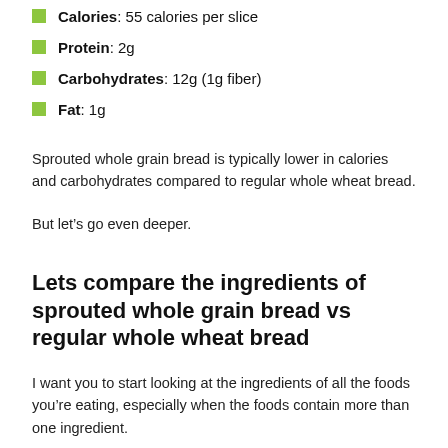Calories: 55 calories per slice
Protein: 2g
Carbohydrates: 12g (1g fiber)
Fat: 1g
Sprouted whole grain bread is typically lower in calories and carbohydrates compared to regular whole wheat bread.
But let’s go even deeper.
Lets compare the ingredients of sprouted whole grain bread vs regular whole wheat bread
I want you to start looking at the ingredients of all the foods you’re eating, especially when the foods contain more than one ingredient.